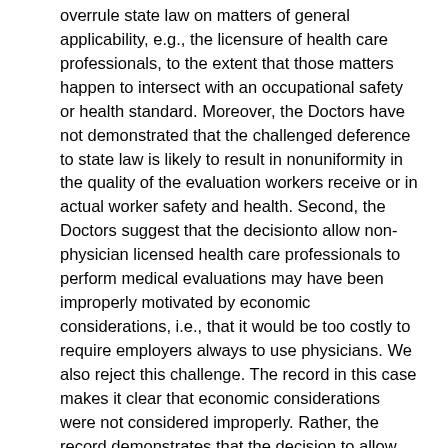overrule state law on matters of general applicability, e.g., the licensure of health care professionals, to the extent that those matters happen to intersect with an occupational safety or health standard. Moreover, the Doctors have not demonstrated that the challenged deference to state law is likely to result in nonuniformity in the quality of the evaluation workers receive or in actual worker safety and health. Second, the Doctors suggest that the decision to allow non-physician licensed health care professionals to perform medical evaluations may have been improperly motivated by economic considerations, i.e., that it would be too costly to require employers always to use physicians. We also reject this challenge. The record in this case makes it clear that economic considerations were not considered improperly. Rather, the record demonstrates that the decision to allow non-physician licensed health care professionals to perform the necessary evaluations was influenced by factual evidence to the effect that such persons are generally qualified to perform such services, and that state law provides an effective and sufficient way to gauge such qualification. OSHA did not conduct a cost-benefit analysis. Indeed, contrary to the Doctors' argument, the record suggests that economic considerations exercised little or no influence on OSHA's decision in this regard. Cf. 63 Fed.Reg. at 1173 (explaining that OSHA's final economic analysis "did not attempt to factor in the offsetting value of cost